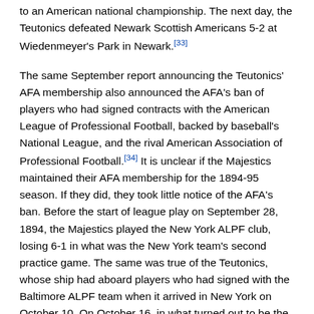to an American national championship. The next day, the Teutonics defeated Newark Scottish Americans 5-2 at Wiedenmeyer's Park in Newark.[33]
The same September report announcing the Teutonics' AFA membership also announced the AFA's ban of players who had signed contracts with the American League of Professional Football, backed by baseball's National League, and the rival American Association of Professional Football.[34] It is unclear if the Majestics maintained their AFA membership for the 1894-95 season. If they did, they took little notice of the AFA's ban. Before the start of league play on September 28, 1894, the Majestics played the New York ALPF club, losing 6-1 in what was the New York team's second practice game. The same was true of the Teutonics, whose ship had aboard players who had signed with the Baltimore ALPF team when it arrived in New York on October 10. On October 16, in what turned out to be the last day of ALPF league matches and the day before the Teutonic began its return voyage to Liverpool, the contest between the New York and Boston ALPF teams at the Polo